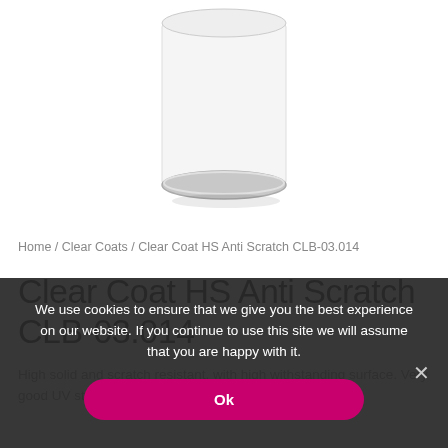[Figure (illustration): A white cylindrical paint/clearcoat can with a metallic silver rim at the bottom, shown on a white background.]
Home / Clear Coats / Clear Coat HS Anti Scratch CLB-03.014
Clear Coat HS Anti Scratch CLB-03.014
High solid and scratch resistant, with high withstanding surface. Very good UV stability.
We use cookies to ensure that we give you the best experience on our website. If you continue to use this site we will assume that you are happy with it.